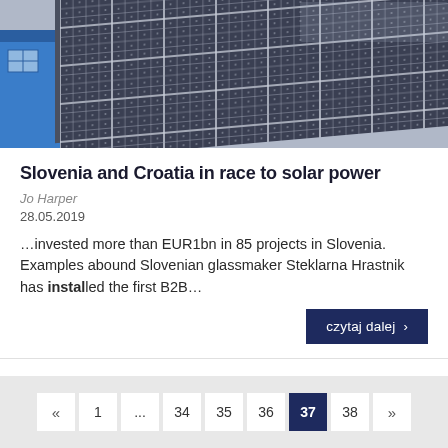[Figure (photo): Aerial/side view of blue solar panels installed on a roof with a blue building visible on the left side]
Slovenia and Croatia in race to solar power
Jo Harper
28.05.2019
…invested more than EUR1bn in 85 projects in Slovenia. Examples abound Slovenian glassmaker Steklarna Hrastnik has installed the first B2B…
czytaj dalej >
« 1 ... 34 35 36 37 38 »